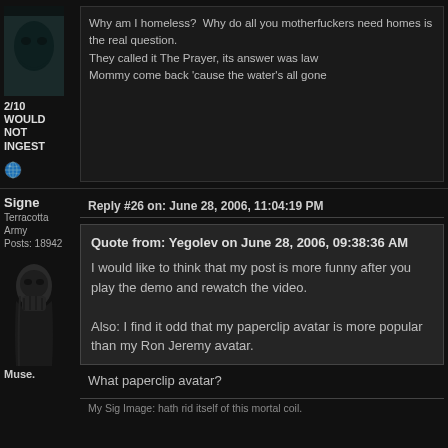[Figure (photo): Dark avatar image of a creature/figure, used as forum profile picture for user with posts about homelessness]
2/10
WOULD
NOT
INGEST
Why am I homeless?  Why do all you motherfuckers need homes is the real question.
They called it The Prayer, its answer was law
Mommy come back 'cause the water's all gone
Signe
Terracotta Army
Posts: 18942
Reply #26 on: June 28, 2006, 11:04:19 PM
Quote from: Yegolev on June 28, 2006, 09:38:36 AM

I would like to think that my post is more funny after you play the demo and rewatch the video.

Also: I find it odd that my paperclip avatar is more popular than my Ron Jeremy avatar.
[Figure (photo): Dark black and white photo of a woman covering her face, used as Signe's forum avatar]
Muse.
What paperclip avatar?
My Sig Image: hath rid itself of this mortal coil.